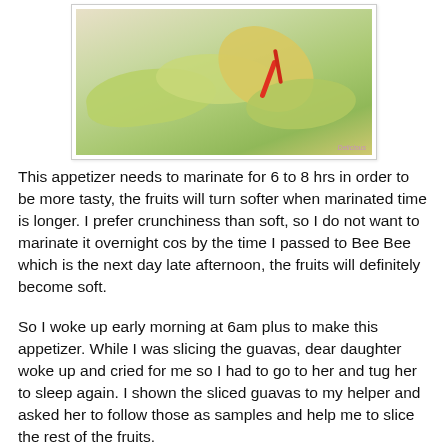[Figure (photo): A plate of sliced green guava fruit pieces with red chili strips and spices on top, food appetizer photo with watermark]
This appetizer needs to marinate for 6 to 8 hrs in order to be more tasty, the fruits will turn softer when marinated time is longer. I prefer crunchiness than soft, so I do not want to marinate it overnight cos by the time I passed to Bee Bee which is the next day late afternoon, the fruits will definitely become soft.
So I woke up early morning at 6am plus to make this appetizer. While I was slicing the guavas, dear daughter woke up and cried for me so I had to go to her and tug her to sleep again. I shown the sliced guavas to my helper and asked her to follow those as samples and help me to slice the rest of the fruits.